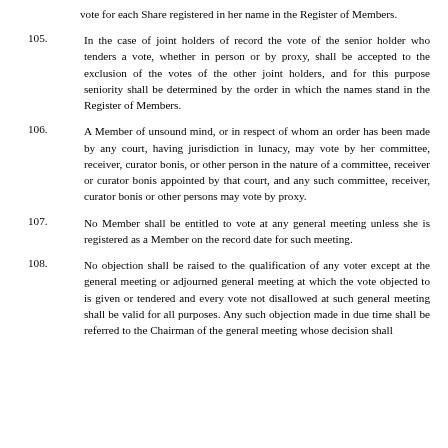vote for each Share registered in her name in the Register of Members.
105. In the case of joint holders of record the vote of the senior holder who tenders a vote, whether in person or by proxy, shall be accepted to the exclusion of the votes of the other joint holders, and for this purpose seniority shall be determined by the order in which the names stand in the Register of Members.
106. A Member of unsound mind, or in respect of whom an order has been made by any court, having jurisdiction in lunacy, may vote by her committee, receiver, curator bonis, or other person in the nature of a committee, receiver or curator bonis appointed by that court, and any such committee, receiver, curator bonis or other persons may vote by proxy.
107. No Member shall be entitled to vote at any general meeting unless she is registered as a Member on the record date for such meeting.
108. No objection shall be raised to the qualification of any voter except at the general meeting or adjourned general meeting at which the vote objected to is given or tendered and every vote not disallowed at such general meeting shall be valid for all purposes. Any such objection made in due time shall be referred to the Chairman of the general meeting whose decision shall